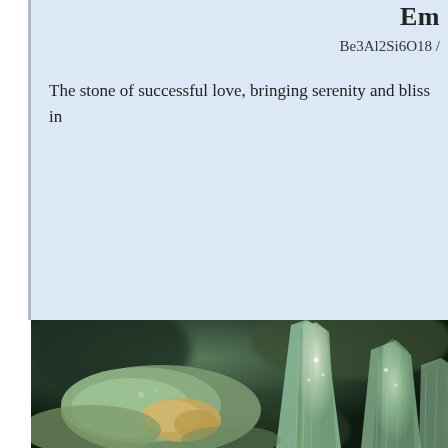Em...
Be3Al2Si6O18 /
The stone of successful love, bringing serenity and bliss in...
[Figure (photo): Close-up macro photograph of a green beryl/emerald mineral crystal specimen showing layered crystalline structure with pale green and white crystalline formations against a dark background]